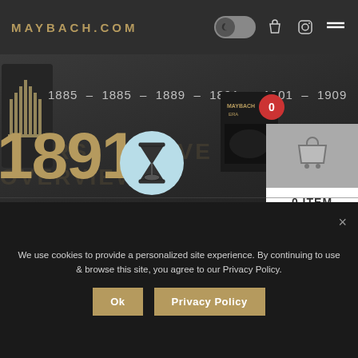MAYBACH.COM
[Figure (logo): Maybach vertical striped logo icon in dark box]
1885 — 1885 — 1889 — 1891 — 1901 — 1909
1891
[Figure (illustration): Hourglass icon in light blue circle]
ILHELM MAYBACH EAVES DMG
[Figure (photo): Maybach book/magazine cover in dark tones]
0
0 ITEM
We use cookies to provide a personalized site experience. By continuing to use & browse this site, you agree to our Privacy Policy.
Ok
Privacy Policy